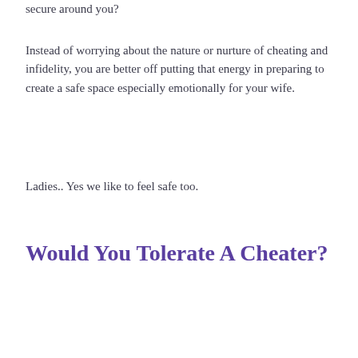secure around you?
Instead of worrying about the nature or nurture of cheating and infidelity, you are better off putting that energy in preparing to create a safe space especially emotionally for your wife.
Ladies.. Yes we like to feel safe too.
Would You Tolerate A Cheater?